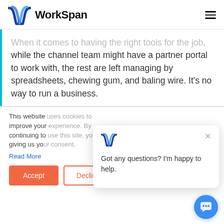WorkSpan
When it comes to having the right tools for the job, while the channel team might have a partner portal to work with, the rest are left managing by spreadsheets, chewing gum, and baling wire. It's no way to run a business.
This website [uses cookies to] improve your [experience. By] continuing to [use this site, you are] giving us yo[ur consent.]
Read More
[Figure (screenshot): Cookie consent popup with Accept and Decline buttons]
[Figure (screenshot): Chat popup with WorkSpan logo and message: Got any questions? I'm happy to help.]